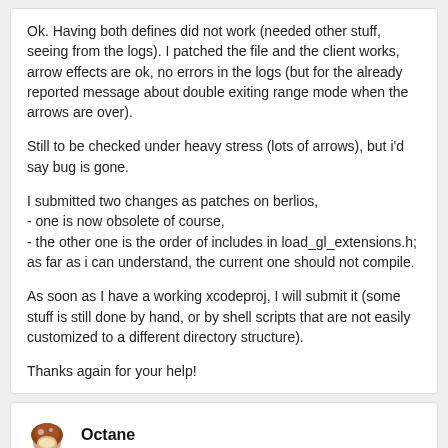Ok. Having both defines did not work (needed other stuff, seeing from the logs). I patched the file and the client works, arrow effects are ok, no errors in the logs (but for the already reported message about double exiting range mode when the arrows are over).
Still to be checked under heavy stress (lots of arrows), but i'd say bug is gone.
I submitted two changes as patches on berlios,
- one is now obsolete of course,
- the other one is the order of includes in load_gl_extensions.h; as far as i can understand, the current one should not compile.
As soon as I have a working xcodeproj, I will submit it (some stuff is still done by hand, or by shell scripts that are not easily customized to a different directory structure).
Thanks again for your help!
Octane